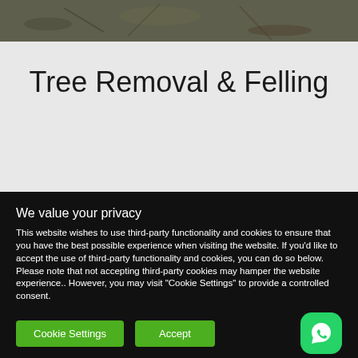[Figure (photo): Top strip of a photo showing ground/gravel background, partially cropped]
Tree Removal & Felling
We value your privacy
This website wishes to use third-party functionality and cookies to ensure that you have the best possible experience when visiting the website. If you'd like to accept the use of third-party functionality and cookies, you can do so below. Please note that not accepting third-party cookies may hamper the website experience.. However, you may visit "Cookie Settings" to provide a controlled consent.